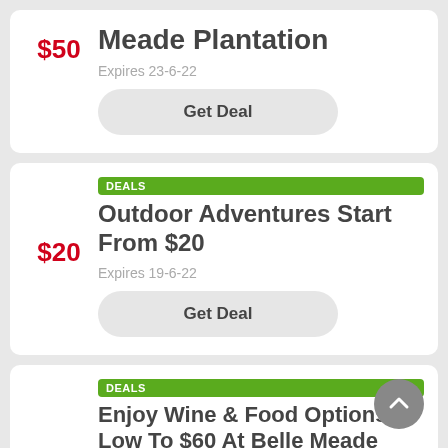$50
Meade Plantation
Expires 23-6-22
Get Deal
DEALS
$20
Outdoor Adventures Start From $20
Expires 19-6-22
Get Deal
DEALS
$60
Enjoy Wine & Food Options Low To $60 At Belle Meade Plantation